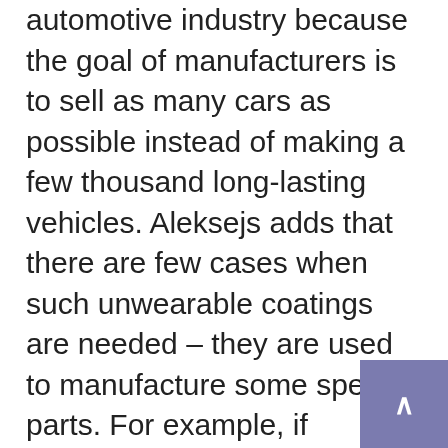automotive industry because the goal of manufacturers is to sell as many cars as possible instead of making a few thousand long-lasting vehicles. Aleksejs adds that there are few cases when such unwearable coatings are needed – they are used to manufacture some special parts. For example, if abrasion resistance is required. For instance, he mentions shipbuilding parts subject to prolonged exposure to saltwater, temperature changes, and other specific conditions. This method already covers some components that are technically difficult to replace for some very expensive car brands.

However, in principle, every part covered with